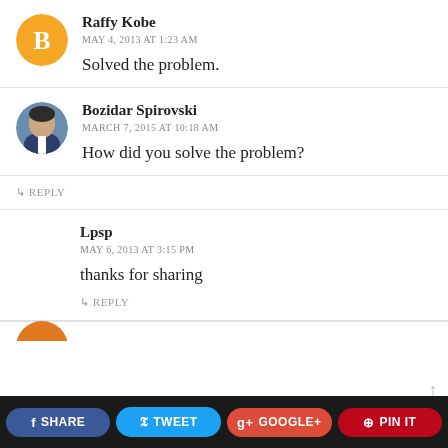Raffy Kobe
MAY 4, 2013 AT 1:23 AM
Solved the problem.
Bozidar Spirovski
MARCH 7, 2015 AT 10:18 AM
How did you solve the problem?
↳ REPLY
Lpsp
MAY 6, 2013 AT 3:15 PM
thanks for sharing
↳ REPLY